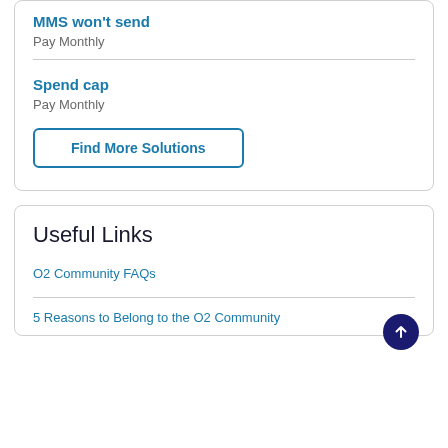MMS won't send
Pay Monthly
Spend cap
Pay Monthly
Find More Solutions
Useful Links
O2 Community FAQs
5 Reasons to Belong to the O2 Community